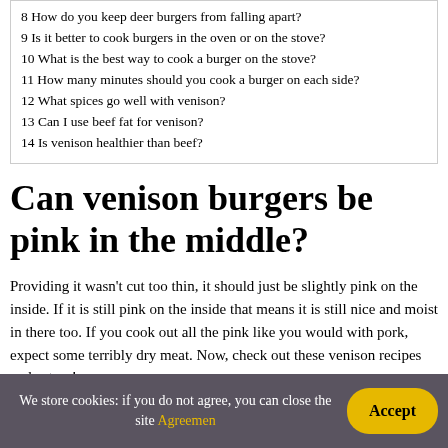8 How do you keep deer burgers from falling apart?
9 Is it better to cook burgers in the oven or on the stove?
10 What is the best way to cook a burger on the stove?
11 How many minutes should you cook a burger on each side?
12 What spices go well with venison?
13 Can I use beef fat for venison?
14 Is venison healthier than beef?
Can venison burgers be pink in the middle?
Providing it wasn't cut too thin, it should just be slightly pink on the inside. If it is still pink on the inside that means it is still nice and moist in there too. If you cook out all the pink like you would with pork, expect some terribly dry meat. Now, check out these venison recipes and eat up!
We store cookies: if you do not agree, you can close the site Agreemen